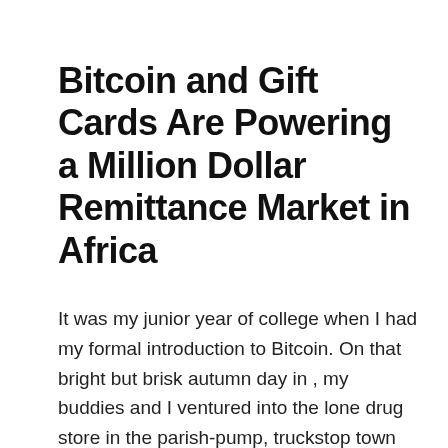Bitcoin and Gift Cards Are Powering a Million Dollar Remittance Market in Africa
It was my junior year of college when I had my formal introduction to Bitcoin. On that bright but brisk autumn day in , my buddies and I ventured into the lone drug store in the parish-pump, truckstop town that accompanied my woodland-tucked university.
Being one of the only convenience stores in